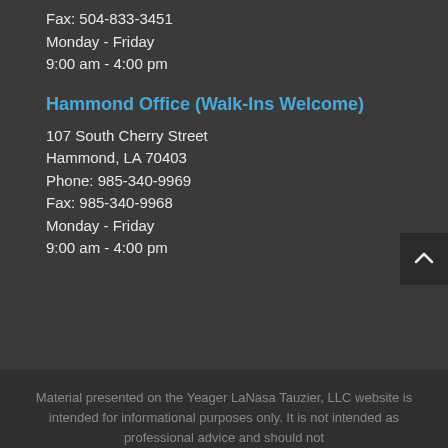Fax: 504-833-3451
Monday - Friday
9:00 am - 4:00 pm
Hammond Office (Walk-Ins Welcome)
107 South Cherry Street
Hammond, LA 70403
Phone: 985-340-9969
Fax: 985-340-9968
Monday - Friday
9:00 am - 4:00 pm
Material presented on the Yeager LaNasa Tauzier, LLC website is intended for informational purposes only. It is not intended as professional advice and should not